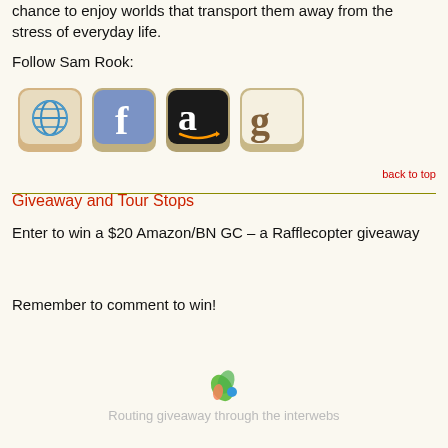chance to enjoy worlds that transport them away from the stress of everyday life.
Follow Sam Rook:
[Figure (illustration): Four social media / store icons in a row: globe/website icon, Facebook icon, Amazon icon, Goodreads icon]
back to top
Giveaway and Tour Stops
Enter to win a $20 Amazon/BN GC – a Rafflecopter giveaway
Remember to comment to win!
[Figure (illustration): Rafflecopter loading spinner graphic]
Routing giveaway through the interwebs